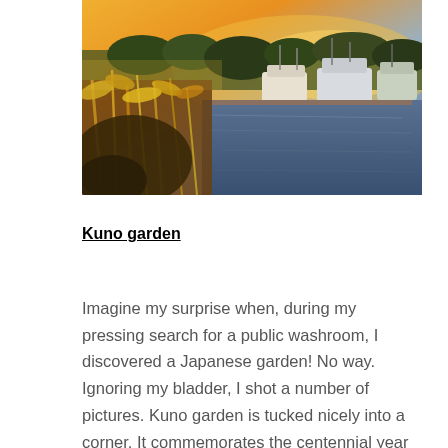[Figure (photo): A marina or harbor scene at golden hour/sunset. Boats are docked in calm water on the right side. In the foreground on the left, tall golden grasses and autumn-colored vegetation are illuminated by warm orange light. Trees line the background.]
Kuno garden
Imagine my surprise when, during my pressing search for a public washroom, I discovered a Japanese garden! No way. Ignoring my bladder, I shot a number of pictures. Kuno garden is tucked nicely into a corner. It commemorates the centennial year of the arrival of the first Japanese